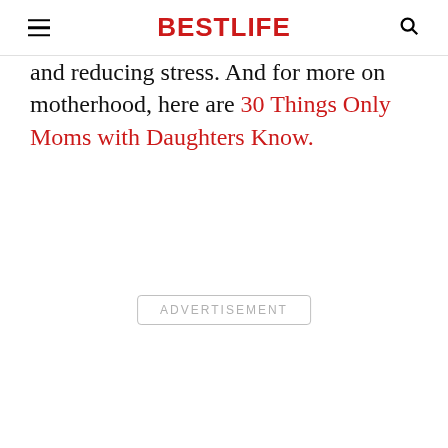BESTLIFE
and reducing stress. And for more on motherhood, here are 30 Things Only Moms with Daughters Know.
ADVERTISEMENT